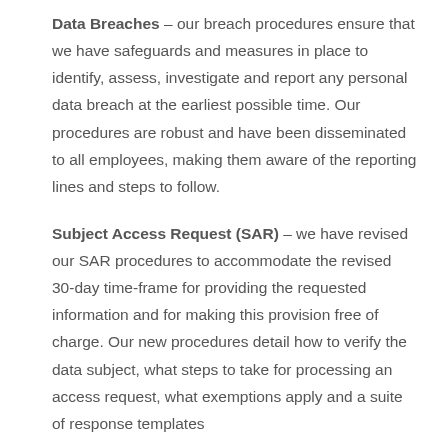Data Breaches – our breach procedures ensure that we have safeguards and measures in place to identify, assess, investigate and report any personal data breach at the earliest possible time. Our procedures are robust and have been disseminated to all employees, making them aware of the reporting lines and steps to follow.
Subject Access Request (SAR) – we have revised our SAR procedures to accommodate the revised 30-day time-frame for providing the requested information and for making this provision free of charge. Our new procedures detail how to verify the data subject, what steps to take for processing an access request, what exemptions apply and a suite of response templates